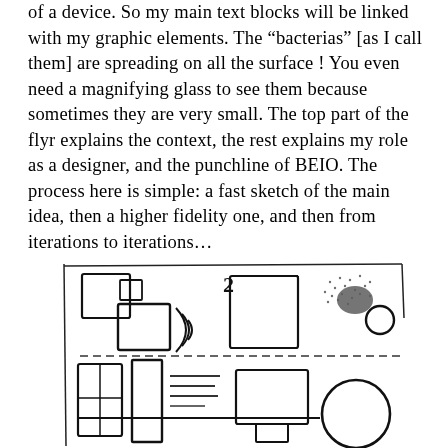of a device. So my main text blocks will be linked with my graphic elements. The “bacterias” [as I call them] are spreading on all the surface ! You even need a magnifying glass to see them because sometimes they are very small. The top part of the flyr explains the context, the rest explains my role as a designer, and the punchline of BEIO. The process here is simple: a fast sketch of the main idea, then a higher fidelity one, and then from iterations to iterations…
[Figure (illustration): A hand-drawn sketch showing various rectangular shapes, boxes, and circles connected by lines, representing a schematic or wireframe layout. Includes small squares at top left, a rectangle with wifi-like arcs and a number 2, a dotted/textured area with a circle, larger rectangles at bottom with dashed lines and horizontal lines (like text), and a large circle at bottom right.]